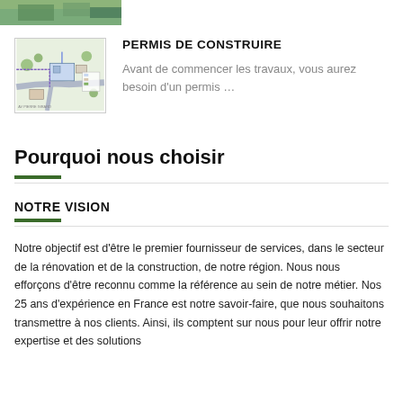[Figure (photo): Partial top image with green/nature tones, cropped at top of page]
[Figure (engineering-diagram): Blueprint/site plan showing building layout with roads and vegetation]
PERMIS DE CONSTRUIRE
Avant de commencer les travaux, vous aurez besoin d'un permis …
Pourquoi nous choisir
NOTRE VISION
Notre objectif est d'être le premier fournisseur de services, dans le secteur de la rénovation et de la construction, de notre région. Nous nous efforçons d'être reconnu comme la référence au sein de notre métier. Nos 25 ans d'expérience en France est notre savoir-faire, que nous souhaitons transmettre à nos clients. Ainsi, ils comptent sur nous pour leur offrir notre expertise et des solutions